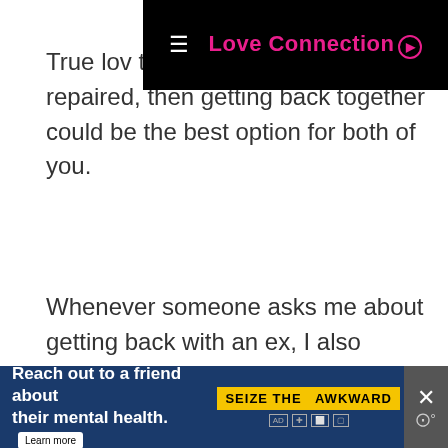Love Connection
True love... the relationship can be repaired, then getting back together could be the best option for both of you.
Whenever someone asks me about getting back with an ex, I also recommend they check out relationship expert Brad Browning.
[Figure (other): Advertisement placeholder box with label ADVERTISEMENT]
[Figure (other): Bottom banner ad: Reach out to a friend about their mental health. Learn more. Seize the Awkward.]